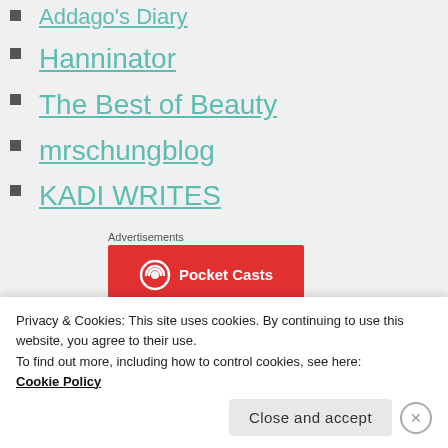Addago's Diary
Hanninator
The Best of Beauty
mrschungblog
KADI WRITES
Advertisements
[Figure (logo): Pocket Casts red advertisement banner with logo and text]
Privacy & Cookies: This site uses cookies. By continuing to use this website, you agree to their use.
To find out more, including how to control cookies, see here:
Cookie Policy
Close and accept